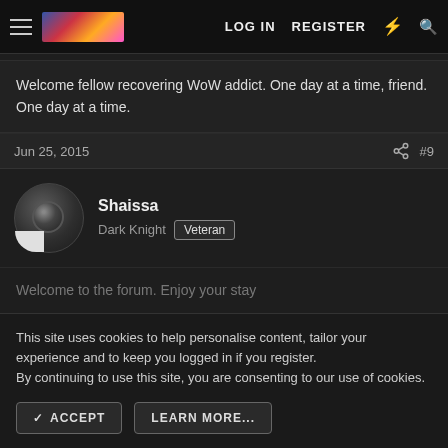LOG IN  REGISTER
Welcome fellow recovering WoW addict. One day at a time, friend. One day at a time.
Jun 25, 2015  #9
Shaissa
Dark Knight  Veteran
Welcome to the forum. Enjoy your stay
This site uses cookies to help personalise content, tailor your experience and to keep you logged in if you register.
By continuing to use this site, you are consenting to our use of cookies.